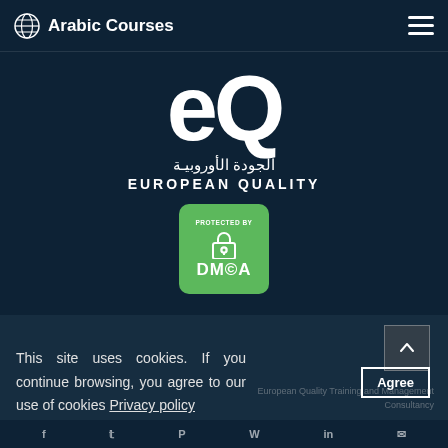Arabic Courses
[Figure (logo): EQ European Quality logo with large stylized 'eQ' letters, Arabic text 'الجودة الأوروبية', and text 'EUROPEAN QUALITY' on dark navy background]
[Figure (logo): Green DMCA Protected badge with padlock icon]
This site uses cookies. If you continue browsing, you agree to our use of cookies Privacy policy